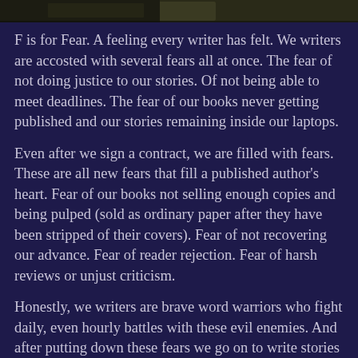[Figure (photo): A dark, partially visible image strip at the top of the page showing an outdoor or nature scene]
F is for Fear. A feeling every writer has felt. We writers are accosted with several fears all at once. The fear of not doing justice to our stories. Of not being able to meet deadlines. The fear of our books never getting published and our stories remaining inside our laptops.
Even after we sign a contract, we are filled with fears. These are all new fears that fill a published author’s heart. Fear of our books not selling enough copies and being pulped (sold as ordinary paper after they have been stripped of their covers). Fear of not recovering our advance. Fear of reader rejection. Fear of harsh reviews or unjust criticism.
Honestly, we writers are brave word warriors who fight daily, even hourly battles with these evil enemies. And after putting down these fears we go on to write stories that makes the readers smile, laugh and cry with our characters.